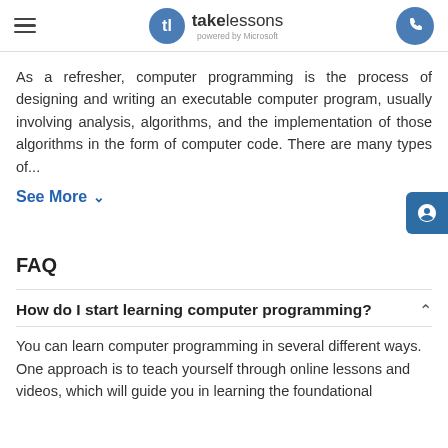takelessons powered by Microsoft
As a refresher, computer programming is the process of designing and writing an executable computer program, usually involving analysis, algorithms, and the implementation of those algorithms in the form of computer code. There are many types of...
See More ∨
FAQ
How do I start learning computer programming?
You can learn computer programming in several different ways. One approach is to teach yourself through online lessons and videos, which will guide you in learning the foundational